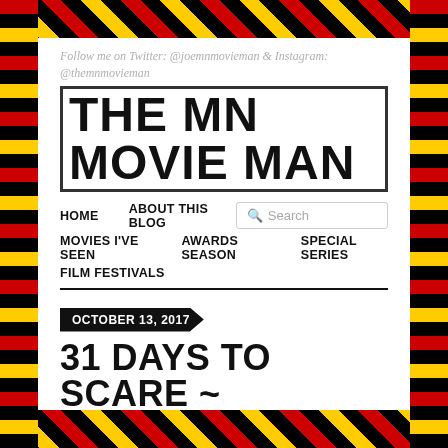Follow me on Twitter: @joemnmovieman & Instagram: @themnmovieman
THE MN MOVIE MAN
HOME
ABOUT THIS BLOG
MOVIES I'VE SEEN
AWARDS SEASON
SPECIAL SERIES
FILM FESTIVALS
OCTOBER 13, 2017
31 DAYS TO SCARE ~ FRIDAY THE 13TH: THE FINAL CHAPTER